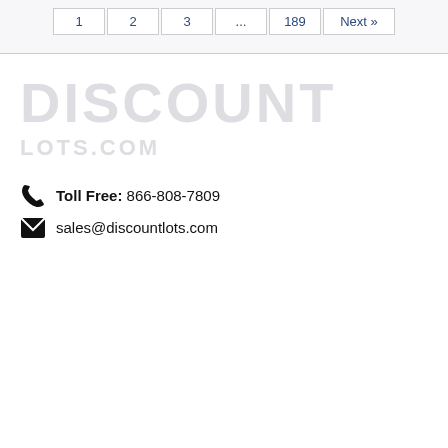1  2  3  ...  189  Next »
[Figure (logo): Watermark logo text reading DISCOUNT in large faded gray letters, with smaller faded text below]
Toll Free: 866-808-7809
sales@discountlots.com